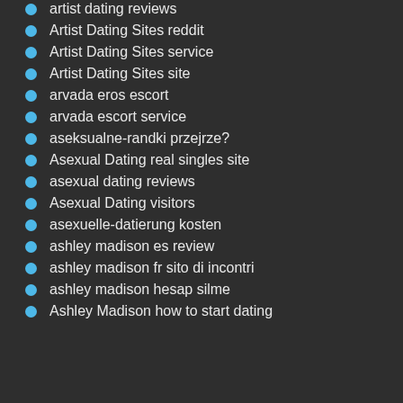artist dating reviews
Artist Dating Sites reddit
Artist Dating Sites service
Artist Dating Sites site
arvada eros escort
arvada escort service
aseksualne-randki przejrze?
Asexual Dating real singles site
asexual dating reviews
Asexual Dating visitors
asexuelle-datierung kosten
ashley madison es review
ashley madison fr sito di incontri
ashley madison hesap silme
Ashley Madison how to start dating